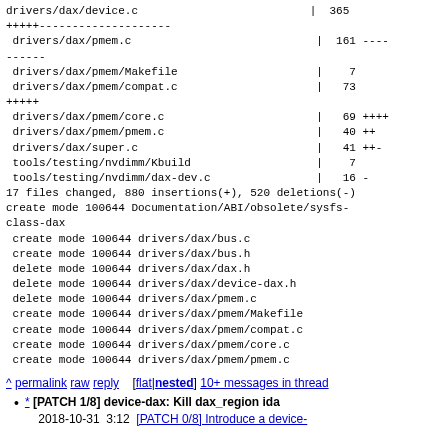drivers/dax/device.c                          |  365
+++++--------------------
 drivers/dax/pmem.c                            |  161 ----
------
 drivers/dax/pmem/Makefile                     |    7
 drivers/dax/pmem/compat.c                     |   73
+++++
 drivers/dax/pmem/core.c                       |   69 ++++
 drivers/dax/pmem/pmem.c                       |   40 ++
 drivers/dax/super.c                           |   41 ++-
 tools/testing/nvdimm/Kbuild                   |    7
 tools/testing/nvdimm/dax-dev.c                |   16 -
17 files changed, 880 insertions(+), 520 deletions(-)
create mode 100644 Documentation/ABI/obsolete/sysfs-class-dax
 create mode 100644 drivers/dax/bus.c
 create mode 100644 drivers/dax/bus.h
 delete mode 100644 drivers/dax/dax.h
 delete mode 100644 drivers/dax/device-dax.h
 delete mode 100644 drivers/dax/pmem.c
 create mode 100644 drivers/dax/pmem/Makefile
 create mode 100644 drivers/dax/pmem/compat.c
 create mode 100644 drivers/dax/pmem/core.c
 create mode 100644 drivers/dax/pmem/pmem.c
^ permalink raw reply   [flat|nested] 10+ messages in thread
* [PATCH 1/8] device-dax: Kill dax_region ida
    2018-10-31  3:12  [PATCH 0/8] Introduce a device-